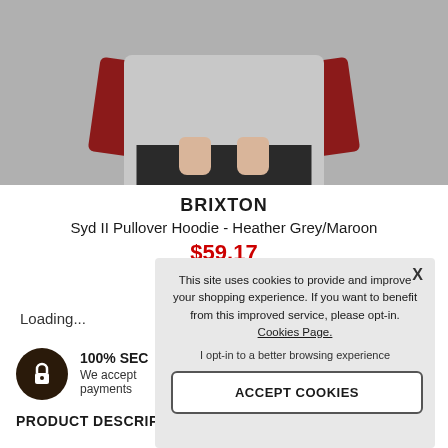[Figure (photo): Person wearing a grey and maroon Brixton Syd II Pullover Hoodie, showing torso with hands visible, grey background]
BRIXTON
Syd II Pullover Hoodie - Heather Grey/Maroon
$59.17 (partially obscured by overlay)
Loading...
100% SEC[URE] — We accept [multiple] payments
PRODUCT DESCRIP[TION]
This site uses cookies to provide and improve your shopping experience. If you want to benefit from this improved service, please opt-in. Cookies Page.
I opt-in to a better browsing experience
ACCEPT COOKIES